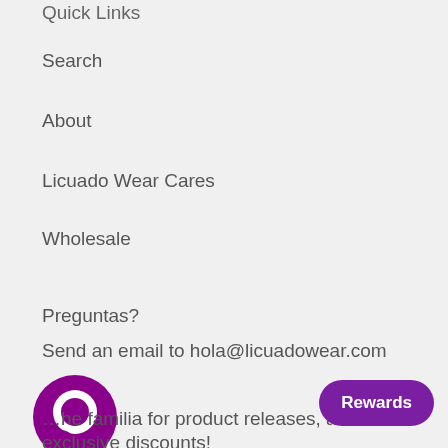Quick Links
Search
About
Licuado Wear Cares
Wholesale
Preguntas?
Send an email to hola@licuadowear.com
[Figure (logo): Purple chat bubble icon]
…he familia for product releases, and exclusive discounts!